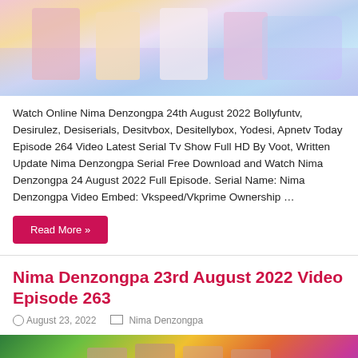[Figure (photo): Top portion of a TV show promotional image showing colorful characters]
Watch Online Nima Denzongpa 24th August 2022 Bollyfuntv, Desirulez, Desiserials, Desitvbox, Desitellybox, Yodesi, Apnetv Today Episode 264 Video Latest Serial Tv Show Full HD By Voot, Written Update Nima Denzongpa Serial Free Download and Watch Nima Denzongpa 24 August 2022 Full Episode. Serial Name: Nima Denzongpa Video Embed: Vkspeed/Vkprime Ownership …
Read More »
Nima Denzongpa 23rd August 2022 Video Episode 263
August 23, 2022  Nima Denzongpa
[Figure (photo): Promotional image of Nima Denzongpa TV show with cast members on colorful background]